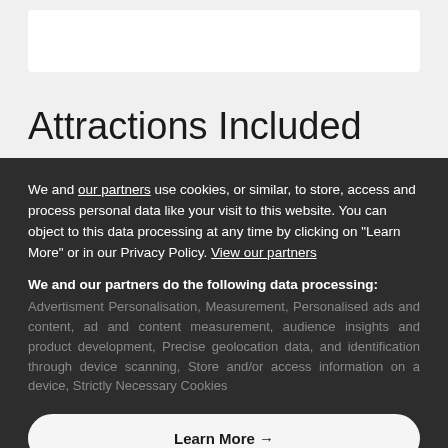[Figure (screenshot): White input box on light grey background at top of page]
Attractions Included
We and our partners use cookies, or similar, to store, access and process personal data like your visit to this website. You can object to this data processing at any time by clicking on "Learn More" or in our Privacy Policy. View our partners
We and our partners do the following data processing: Advertisment Personalisation, Measurement, Personalised ads and content, ad and content measurement, audience insights and product development, Precise geolocation data, and identification through device scanning, Store and/or access information on a device, Strictly Necessary Cookies
Learn More →
Agree and close